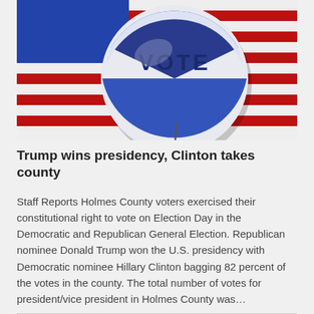[Figure (photo): Close-up photo of a blue and white 'VOTE' campaign button pin resting on an American flag with red, white, and blue stripes visible.]
Trump wins presidency, Clinton takes county
Staff Reports Holmes County voters exercised their constitutional right to vote on Election Day in the Democratic and Republican General Election. Republican nominee Donald Trump won the U.S. presidency with Democratic nominee Hillary Clinton bagging 82 percent of the votes in the county. The total number of votes for president/vice president in Holmes County was…